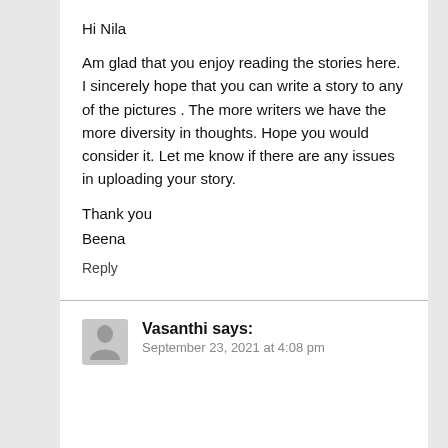Hi Nila
Am glad that you enjoy reading the stories here. I sincerely hope that you can write a story to any of the pictures . The more writers we have the more diversity in thoughts. Hope you would consider it. Let me know if there are any issues in uploading your story.
Thank you
Beena
Reply
Vasanthi says:
September 23, 2021 at 4:08 pm